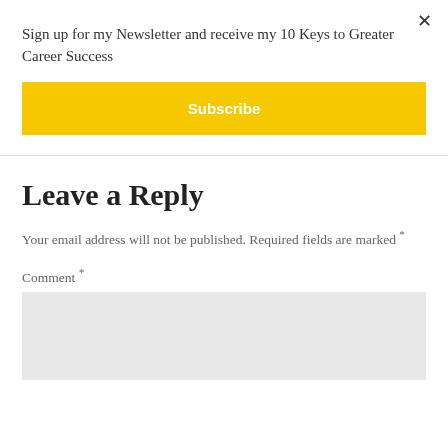Sign up for my Newsletter and receive my 10 Keys to Greater Career Success
Subscribe
Leave a Reply
Your email address will not be published. Required fields are marked *
Comment *